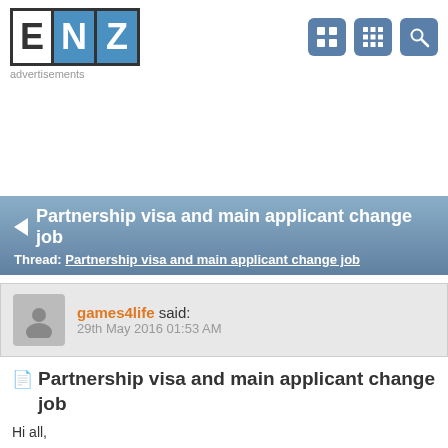[Figure (logo): ENZ logo with E and N in white on white background and Z in white on blue background, bordered]
advertisements
◄ Partnership visa and main applicant change job
Thread: Partnership visa and main applicant change job
games4life said:
29th May 2016 01:53 AM
📄 Partnership visa and main applicant change job
Hi all,
First time to post here, thank you for taking your time to read my post.